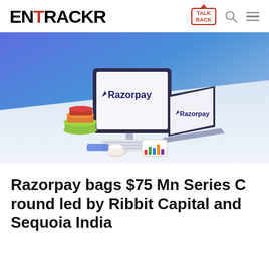ENTRACKR — TALK BACK [navigation icons]
[Figure (illustration): Isometric illustration of a desktop computer and laptop both displaying the Razorpay logo/brand, with colorful stacked books, keyboard, coffee cup, and a tablet with bar charts, set against a blue-to-white gradient background.]
Razorpay bags $75 Mn Series C round led by Ribbit Capital and Sequoia India